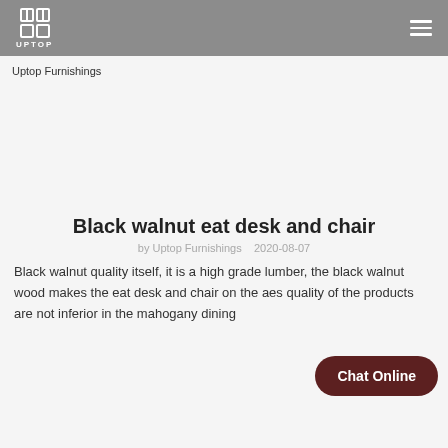UPTOP
Uptop Furnishings
Black walnut eat desk and chair
by Uptop Furnishings   2020-08-07
Black walnut quality itself, it is a high grade lumber, the black walnut wood makes the eat desk and chair on the aes quality of the products are not inferior in the mahogany dining